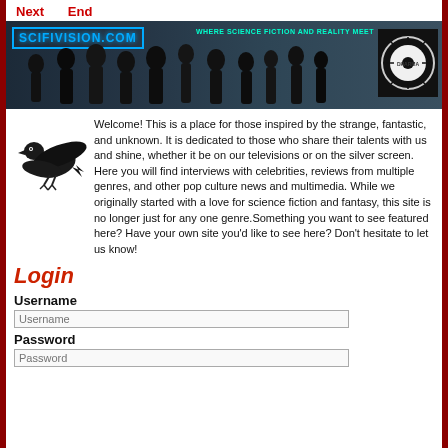Next   End
[Figure (illustration): SciFiVision.com website banner with silhouetted figures and Dharma Initiative logo on dark background. Text: SCIFIVISION.COM and WHERE SCIENCE FICTION AND REALITY MEET]
[Figure (illustration): Black crow/raven silhouette illustration]
Welcome! This is a place for those inspired by the strange, fantastic, and unknown. It is dedicated to those who share their talents with us and shine, whether it be on our televisions or on the silver screen. Here you will find interviews with celebrities, reviews from multiple genres, and other pop culture news and multimedia. While we originally started with a love for science fiction and fantasy, this site is no longer just for any one genre.Something you want to see featured here? Have your own site you'd like to see here? Don't hesitate to let us know!
Login
Username
Password